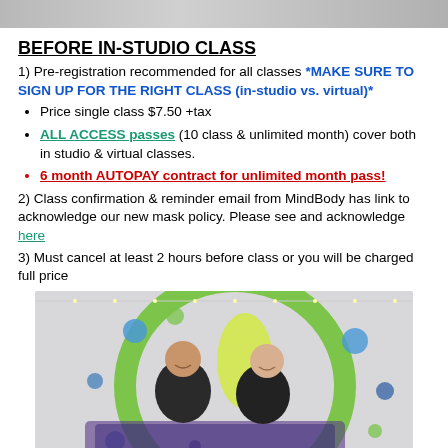[Figure (photo): Top cropped photo, partial view, gray/muted tones]
BEFORE IN-STUDIO CLASS
1) Pre-registration recommended for all classes *MAKE SURE TO SIGN UP FOR THE RIGHT CLASS (in-studio vs. virtual)*
Price single class $7.50 +tax
ALL ACCESS passes (10 class & unlimited month) cover both in studio & virtual classes.
6 month AUTOPAY contract for unlimited month pass!
2) Class confirmation & reminder email from MindBody has link to acknowledge our new mask policy. Please see and acknowledge here
3) Must cancel at least 2 hours before class or you will be charged full price
[Figure (photo): Two women smiling in front of a Zumba logo mural with colorful dots and lettering]